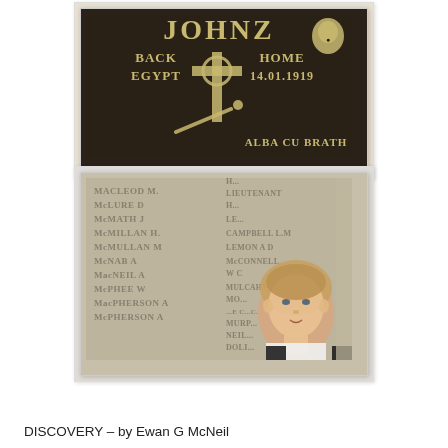[Figure (photo): Dark stone or slate plaque with carved/painted text reading 'JOHNZ BACK HOME EGYPT 14.01.1919 ALBA CU BRATH' with a Celtic cross and cricket bat imagery, and a small face portrait in the corner.]
[Figure (photo): A young woman stands in front of a stone war memorial wall engraved with Scottish names including MacLEOD M, McLURE D, McMATH J, McMILLAN H, McMULLAN M, McNAB A, MacNEIL A, McPHEE W, MacPHERSON A, McPHERSON A on the left column, and LIEUTENANT, CAMPBELL, LEMON A D, McCONNELL W C, MULCAHY-MORGAN, MURP-, NEIL, DOLI on the right.]
DISCOVERY – by Ewan G McNeil